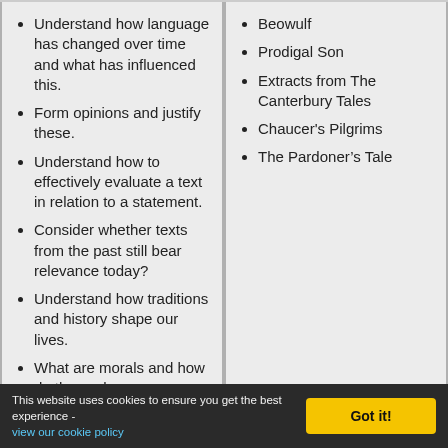Understand how language has changed over time and what has influenced this.
Form opinions and justify these.
Understand how to effectively evaluate a text in relation to a statement.
Consider whether texts from the past still bear relevance today?
Understand how traditions and history shape our lives.
What are morals and how do these shape us as people?
Beowulf
Prodigal Son
Extracts from The Canterbury Tales
Chaucer's Pilgrims
The Pardoner's Tale
This website uses cookies to ensure you get the best experience - view our cookie policy  Got it!